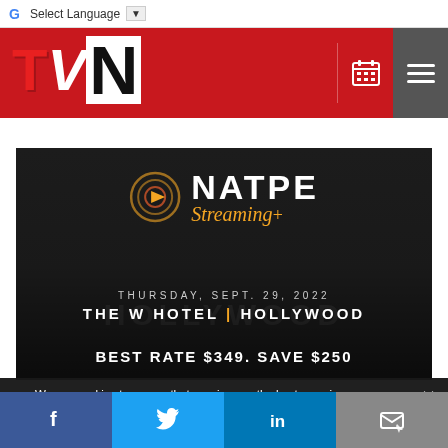Google Translate Select Language
[Figure (logo): TVN logo on red header bar with calendar and menu icons]
[Figure (infographic): NATPE Streaming+ event promotional image. Dark background with Hollywood sign silhouette. Text: THURSDAY, SEPT. 29, 2022 / THE W HOTEL | HOLLYWOOD / BEST RATE $349. SAVE $250]
We use cookies to ensure that we give you the best experience on our website. If you continue to use this site we will assume that you are happy with it.
Facebook Twitter LinkedIn Email social share bar